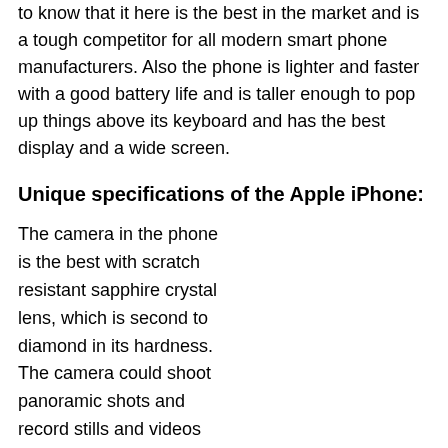to know that it here is the best in the market and is a tough competitor for all modern smart phone manufacturers. Also the phone is lighter and faster with a good battery life and is taller enough to pop up things above its keyboard and has the best display and a wide screen.
Unique specifications of the Apple iPhone:
The camera in the phone is the best with scratch resistant sapphire crystal lens, which is second to diamond in its hardness. The camera could shoot panoramic shots and record stills and videos and audio as well with the help of a microphone at its back. The music from the device is at its best with high quality speakers and ear buds that have been refined
[Figure (photo): Two iPhone 5 devices shown from the back and front, in dark gray/slate color, displaying the iOS home screen on the front-facing device]